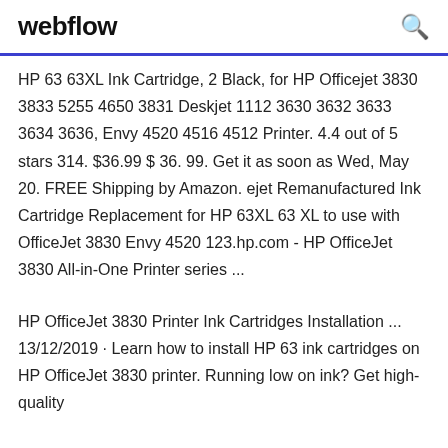webflow
HP 63 63XL Ink Cartridge, 2 Black, for HP Officejet 3830 3833 5255 4650 3831 Deskjet 1112 3630 3632 3633 3634 3636, Envy 4520 4516 4512 Printer. 4.4 out of 5 stars 314. $36.99 $ 36. 99. Get it as soon as Wed, May 20. FREE Shipping by Amazon. ejet Remanufactured Ink Cartridge Replacement for HP 63XL 63 XL to use with OfficeJet 3830 Envy 4520 123.hp.com - HP OfficeJet 3830 All-in-One Printer series ...
HP OfficeJet 3830 Printer Ink Cartridges Installation ... 13/12/2019 · Learn how to install HP 63 ink cartridges on HP OfficeJet 3830 printer. Running low on ink? Get high-quality